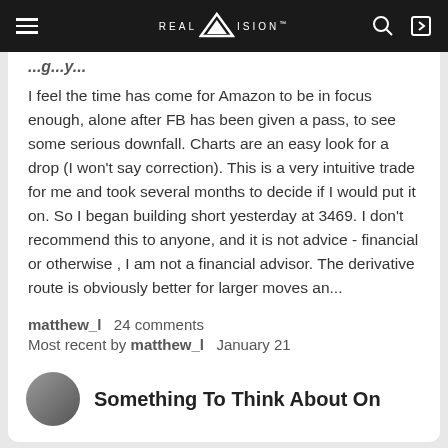REAL VISION
I feel the time has come for Amazon to be in focus enough, alone after FB has been given a pass, to see some serious downfall. Charts are an easy look for a drop (I won't say correction). This is a very intuitive trade for me and took several months to decide if I would put it on. So I began building short yesterday at 3469. I don't recommend this to anyone, and it is not advice - financial or otherwise , I am not a financial advisor. The derivative route is obviously better for larger moves an...
matthew_l   24 comments
Most recent by matthew_l   January 21
Real Vision
Something To Think About On